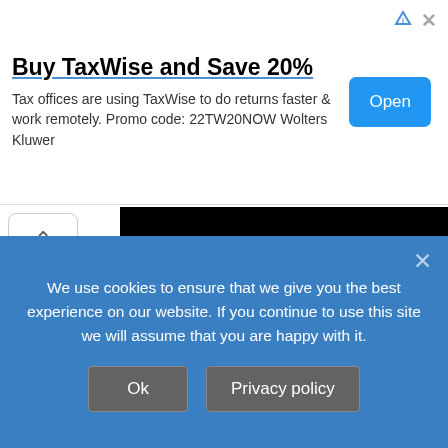Buy TaxWise and Save 20%
Tax offices are using TaxWise to do returns faster & work remotely. Promo code: 22TW20NOW Wolters Kluwer
[Figure (photo): Satellite photograph of Earth showing North and South America, with blue oceans, white clouds, and landmasses visible against a black space background]
We use cookies to ensure that we give you the best experience on our website. If you continue to use this site we will assume that you are happy with it.